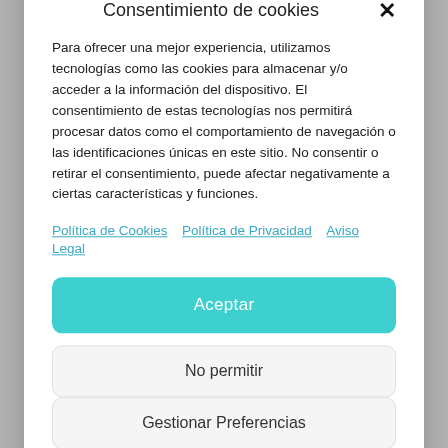Consentimiento de cookies
Para ofrecer una mejor experiencia, utilizamos tecnologías como las cookies para almacenar y/o acceder a la información del dispositivo. El consentimiento de estas tecnologías nos permitirá procesar datos como el comportamiento de navegación o las identificaciones únicas en este sitio. No consentir o retirar el consentimiento, puede afectar negativamente a ciertas características y funciones.
Política de Cookies  Política de Privacidad  Aviso Legal
Aceptar
No permitir
Gestionar Preferencias